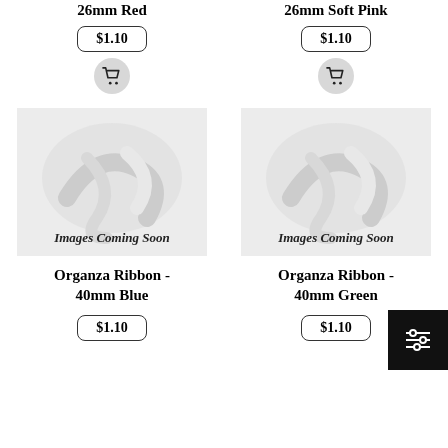26mm Red
$1.10
26mm Soft Pink
$1.10
[Figure (photo): Placeholder product image with text 'Images Coming Soon' for organza ribbon]
[Figure (photo): Placeholder product image with text 'Images Coming Soon' for organza ribbon]
Organza Ribbon - 40mm Blue
$1.10
Organza Ribbon - 40mm Green
$1.10